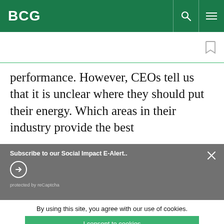BCG
performance. However, CEOs tell us that it is unclear where they should put their energy. Which areas in their industry provide the best
Subscribe to our Social Impact E-Alert...
protected by reCaptcha
By using this site, you agree with our use of cookies.
I consent to cookies
Want to know more?
Read our Cookie Policy